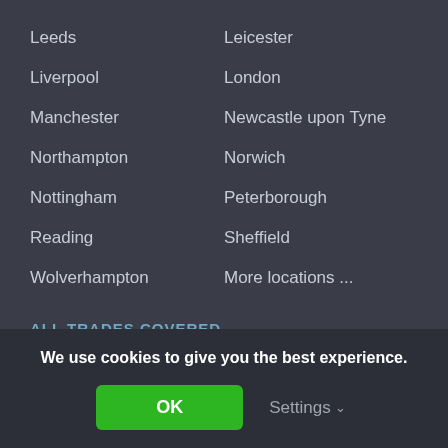Leeds
Leicester
Liverpool
London
Manchester
Newcastle upon Tyne
Northampton
Norwich
Nottingham
Peterborough
Reading
Sheffield
Wolverhampton
More locations ...
ALL TRADES COVERED
Architectural Services
Central Heating
We use cookies to give you the best experience.
OK
Settings